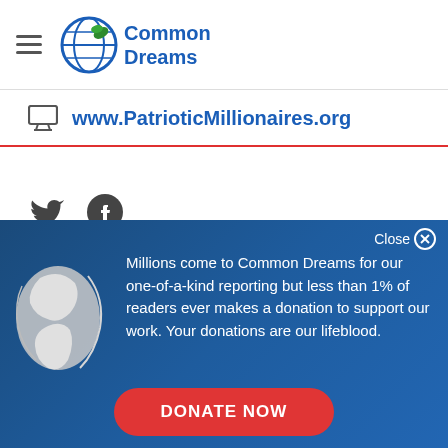Common Dreams
www.PatrioticMillionaires.org
[Figure (logo): Twitter and Facebook social media icons]
Close ⊗
[Figure (illustration): Globe/Earth icon in light gray on blue background]
Millions come to Common Dreams for our one-of-a-kind reporting but less than 1% of readers ever makes a donation to support our work. Your donations are our lifeblood.
DONATE NOW